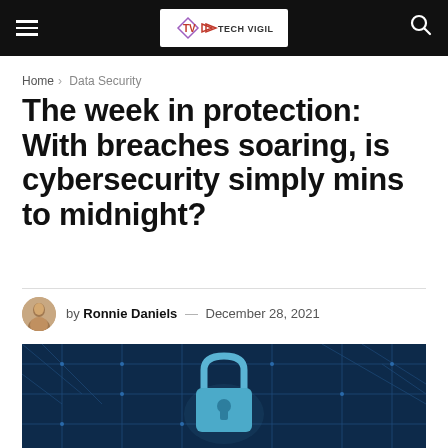TV Tech Vigil
Home > Data Security
The week in protection: With breaches soaring, is cybersecurity simply mins to midnight?
by Ronnie Daniels — December 28, 2021
[Figure (photo): Close-up of a blue digital circuit board with a padlock icon in the center, representing cybersecurity.]